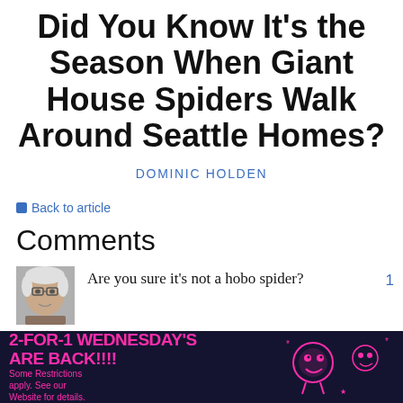Did You Know It's the Season When Giant House Spiders Walk Around Seattle Homes?
DOMINIC HOLDEN
← Back to article
Comments
Are you sure it's not a hobo spider?
[Figure (photo): Small avatar photo of an elderly person, with a downward chevron below it]
[Figure (infographic): Advertisement banner: '2-FOR-1 WEDNESDAY'S ARE BACK!!!! Some Restrictions apply. See our Website for details.' on dark navy background with pink/magenta text and cartoon character graphics]